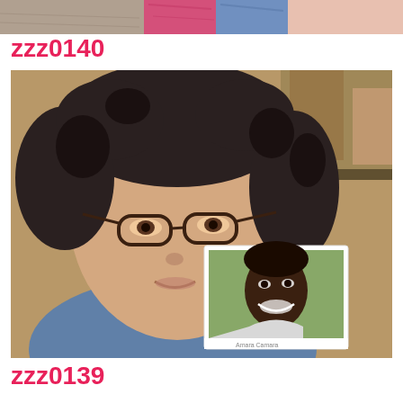[Figure (photo): Partial top of a photo showing colorful clothing/fabric, cropped at the top of the page]
zzz0140
[Figure (photo): A woman with curly dark hair and glasses, wearing a denim jacket, holding up a printed photograph of a smiling young man. The printed photo has text at the bottom partially visible reading something like 'Amara Camara' or similar.]
zzz0139